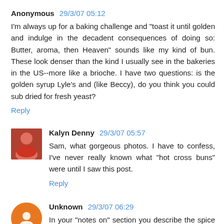Anonymous 29/3/07 05:12
I'm always up for a baking challenge and "toast it until golden and indulge in the decadent consequences of doing so: Butter, aroma, then Heaven" sounds like my kind of bun. These look denser than the kind I usually see in the bakeries in the US--more like a brioche. I have two questions: is the golden syrup Lyle's and (like Beccy), do you think you could sub dried for fresh yeast?
Reply
Kalyn Denny 29/3/07 05:57
Sam, what gorgeous photos. I have to confess, I've never really known what "hot cross buns" were until I saw this post.
Reply
Unknown 29/3/07 06:29
In your "notes on" section you describe the spice mix and